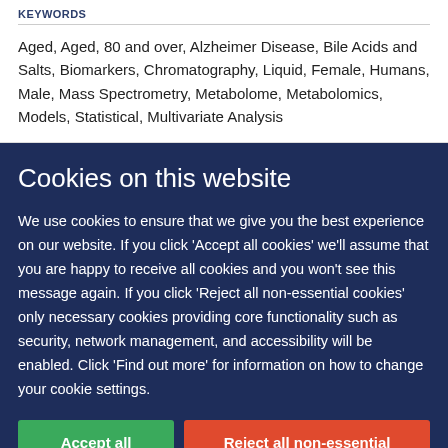KEYWORDS
Aged, Aged, 80 and over, Alzheimer Disease, Bile Acids and Salts, Biomarkers, Chromatography, Liquid, Female, Humans, Male, Mass Spectrometry, Metabolome, Metabolomics, Models, Statistical, Multivariate Analysis
Cookies on this website
We use cookies to ensure that we give you the best experience on our website. If you click 'Accept all cookies' we'll assume that you are happy to receive all cookies and you won't see this message again. If you click 'Reject all non-essential cookies' only necessary cookies providing core functionality such as security, network management, and accessibility will be enabled. Click 'Find out more' for information on how to change your cookie settings.
Accept all cookies
Reject all non-essential cookies